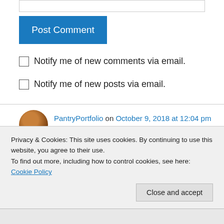[Figure (other): Post Comment button, blue rectangle with white text]
Notify me of new comments via email.
Notify me of new posts via email.
PantryPortfolio on October 9, 2018 at 12:04 pm
My grandmother used to drizzle fat back over our mashed potatoes. I never knew why hers
Privacy & Cookies: This site uses cookies. By continuing to use this website, you agree to their use.
To find out more, including how to control cookies, see here: Cookie Policy
Close and accept